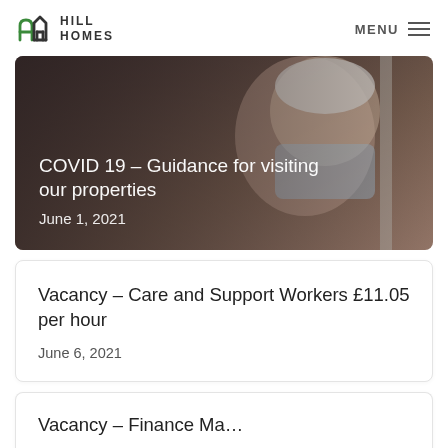HILL HOMES | MENU
[Figure (photo): Elderly woman wearing a blue surgical face mask, looking upward near a window, with warm bokeh background. Overlay text reads: COVID 19 – Guidance for visiting our properties, June 1, 2021]
COVID 19 – Guidance for visiting our properties
June 1, 2021
Vacancy – Care and Support Workers £11.05 per hour
June 6, 2021
Vacancy – Finance Manager